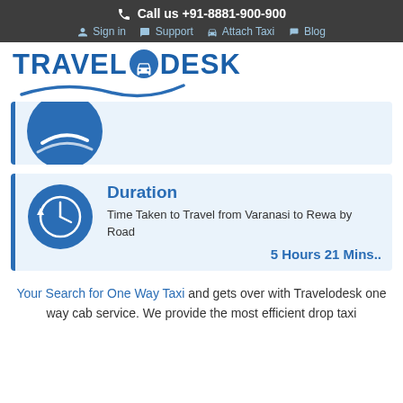Call us +91-8881-900-900 | Sign in | Support | Attach Taxi | Blog
[Figure (logo): TravelODesk logo with car icon and wave swoosh]
[Figure (infographic): Partial card with logo wave/swoosh icon visible - top portion cut off]
[Figure (infographic): Duration card with clock icon showing travel time from Varanasi to Rewa by Road: 5 Hours 21 Mins..]
Your Search for One Way Taxi and gets over with Travelodesk one way cab service. We provide the most efficient drop taxi